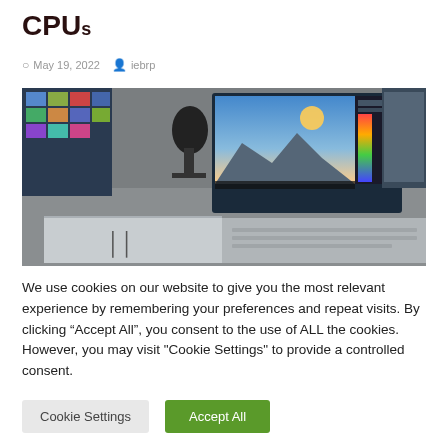CPUs
May 19, 2022   iebrp
[Figure (photo): HP laptop open showing photo editing software on screen, with a microphone and another monitor in the background on a desk.]
We use cookies on our website to give you the most relevant experience by remembering your preferences and repeat visits. By clicking “Accept All”, you consent to the use of ALL the cookies. However, you may visit "Cookie Settings" to provide a controlled consent.
Cookie Settings   Accept All